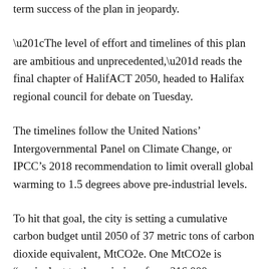term success of the plan in jeopardy.
“The level of effort and timelines of this plan are ambitious and unprecedented,” reads the final chapter of HalifACT 2050, headed to Halifax regional council for debate on Tuesday.
The timelines follow the United Nations’ Intergovernmental Panel on Climate Change, or IPCC’s 2018 recommendation to limit overall global warming to 1.5 degrees above pre-industrial levels.
To hit that goal, the city is setting a cumulative carbon budget until 2050 of 37 metric tons of carbon dioxide equivalent, MtCO2e. One MtCO2e is “equivalent to the emissions from 216,000 cars driven for an entire year,” according to the report.
Halifax emitted 5.8 MtCO2e in 2016. If it didn’t take